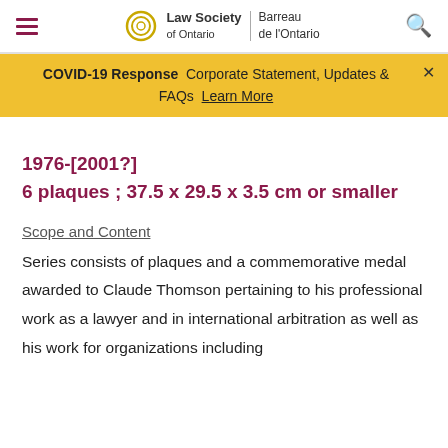Law Society of Ontario | Barreau de l'Ontario
COVID-19 Response  Corporate Statement, Updates & FAQs  Learn More
1976-[2001?]
6 plaques ; 37.5 x 29.5 x 3.5 cm or smaller
Scope and Content
Series consists of plaques and a commemorative medal awarded to Claude Thomson pertaining to his professional work as a lawyer and in international arbitration as well as his work for organizations including